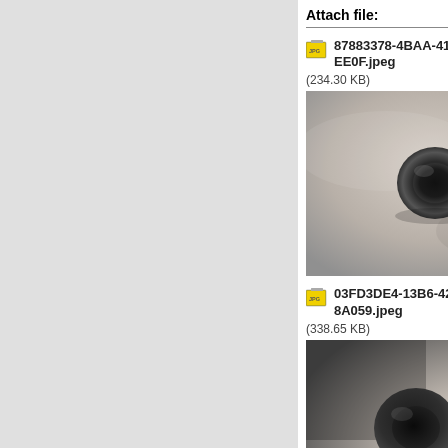sure I can get it back inside.
Attach file:
87883378-4BAA-4150-8743-22D56458EE0F.jpeg (234.30 KB)
[Figure (photo): Close-up photo of a rubber grommet or seal on a silver metallic surface, viewed from above.]
03FD3DE4-13B6-42C7-9AB5-4460DE18A059.jpeg (338.65 KB)
[Figure (photo): Photo of a black rubber grommet or seal protruding from a silver metallic surface, slightly different angle, with dramatic lighting.]
Posted on: 5/15